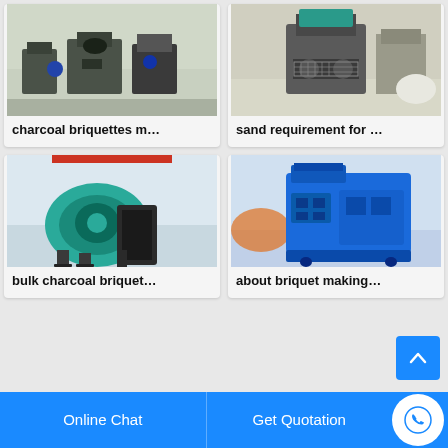[Figure (photo): Industrial charcoal briquette machine in factory setting, multiple grey machines on factory floor]
charcoal briquettes m…
[Figure (photo): Sand/coal briquette making machine, grey industrial equipment with hopper and rollers]
sand requirement for …
[Figure (photo): Bulk charcoal briquette crusher/mixer machine, teal/green colored industrial machine]
bulk charcoal briquet…
[Figure (photo): Blue briquet making machine, large blue industrial briquette press machine]
about briquet making…
Online Chat
Get Quotation